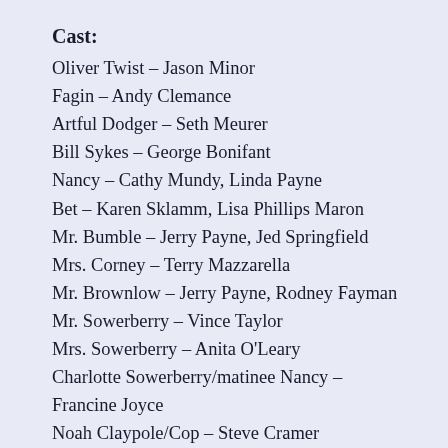Cast:
Oliver Twist – Jason Minor
Fagin – Andy Clemance
Artful Dodger – Seth Meurer
Bill Sykes – George Bonifant
Nancy – Cathy Mundy, Linda Payne
Bet – Karen Sklamm, Lisa Phillips Maron
Mr. Bumble – Jerry Payne, Jed Springfield
Mrs. Corney – Terry Mazzarella
Mr. Brownlow – Jerry Payne, Rodney Fayman
Mr. Sowerberry – Vince Taylor
Mrs. Sowerberry – Anita O'Leary
Charlotte Sowerberry/matinee Nancy – Francine Joyce
Noah Claypole/Cop – Steve Cramer